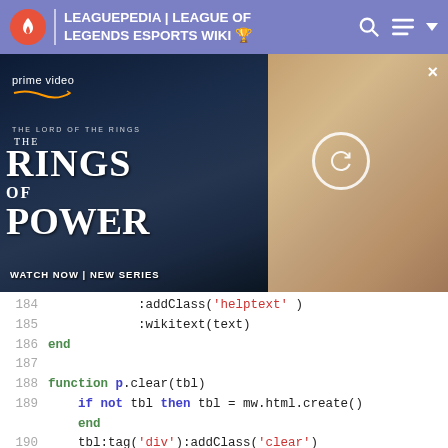LEAGUEPEDIA | LEAGUE OF LEGENDS ESPORTS WIKI
[Figure (screenshot): Amazon Prime Video advertisement for The Rings of Power series, showing characters from the show]
184    :addClass('helptext')
185    :wikitext(text)
186 end
187
188 function p.clear(tbl)
189    if not tbl then tbl = mw.html.create()
       end
190    tbl:tag('div'):addClass('clear')
191    return tbl
192 end
193
194 function p.innerColspanTable(tbl, colspan)
195    local th = p.innerColspanCellOnly(tbl, colspan)